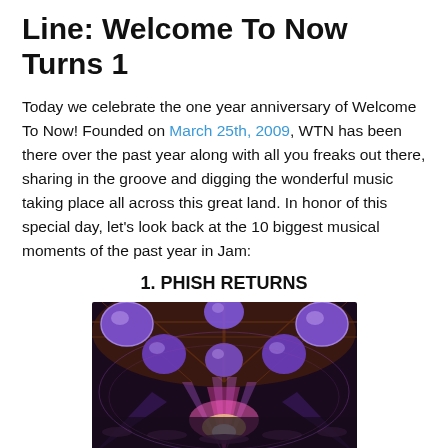Line: Welcome To Now Turns 1
Today we celebrate the one year anniversary of Welcome To Now! Founded on March 25th, 2009, WTN has been there over the past year along with all you freaks out there, sharing in the groove and digging the wonderful music taking place all across this great land. In honor of this special day, let's look back at the 10 biggest musical moments of the past year in Jam:
1. PHISH RETURNS
[Figure (photo): Concert venue photo showing a large arena with purple glowing balloons hanging from the ceiling, colorful stage lighting in purples and pinks, and a crowd visible below.]